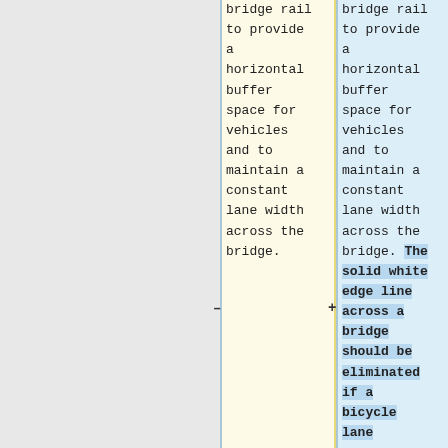bridge rail to provide a horizontal buffer space for vehicles and to maintain a constant lane width across the bridge.
bridge rail to provide a horizontal buffer space for vehicles and to maintain a constant lane width across the bridge. The solid white edge line across a bridge should be eliminated if a bicycle lane